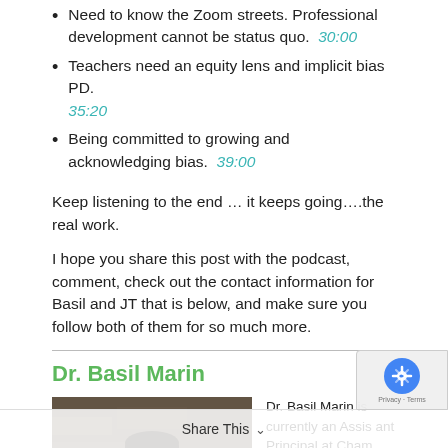Need to know the Zoom streets. Professional development cannot be status quo. 30:00
Teachers need an equity lens and implicit bias PD. 35:20
Being committed to growing and acknowledging bias. 39:00
Keep listening to the end … it keeps going….the real work.
I hope you share this post with the podcast, comment, check out the contact information for Basil and JT that is below, and make sure you follow both of them for so much more.
Dr. Basil Marin
[Figure (photo): Headshot photo of Dr. Basil Marin, a man in professional attire, smiling, with a stone building in the background.]
Dr. Basil Marin is currently an Assistant Principal at Cham... Charter High Scho... Atlanta, Georgia. In his...